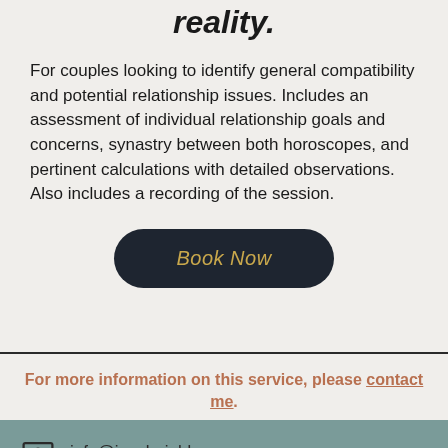reality.
For couples looking to identify general compatibility and potential relationship issues. Includes an assessment of individual relationship goals and concerns, synastry between both horoscopes, and pertinent calculations with detailed observations. Also includes a recording of the session.
Book Now
For more information on this service, please contact me.
info@joeybujold.com